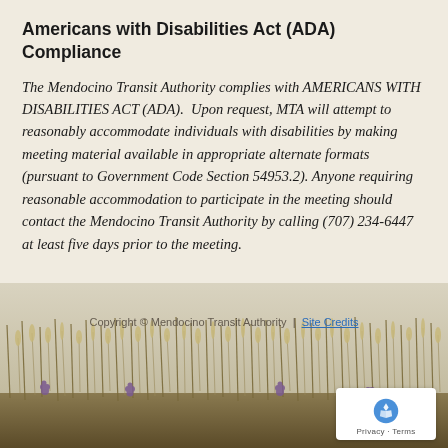Americans with Disabilities Act (ADA) Compliance
The Mendocino Transit Authority complies with AMERICANS WITH DISABILITIES ACT (ADA).  Upon request, MTA will attempt to reasonably accommodate individuals with disabilities by making meeting material available in appropriate alternate formats (pursuant to Government Code Section 54953.2). Anyone requiring reasonable accommodation to participate in the meeting should contact the Mendocino Transit Authority by calling (707) 234-6447 at least five days prior to the meeting.
[Figure (photo): Photograph of tall grass and wildflowers in a coastal meadow landscape]
Copyright © Mendocino Transit Authority | Site Credits